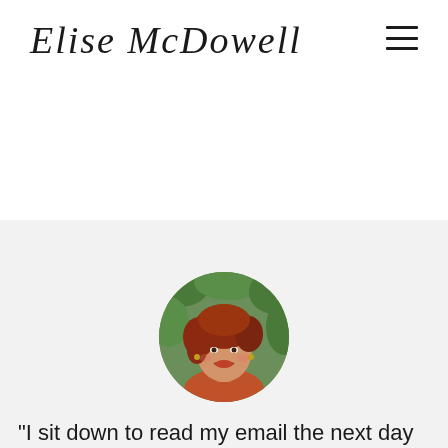Elise McDowell
[Figure (photo): Circular profile photo of a woman with red hair wearing an orange top, outdoors with green foliage background]
"I sit down to read my email the next day and I see three identical emails with the subject “Woot! Woot! You made a sale!” I click on the emails and